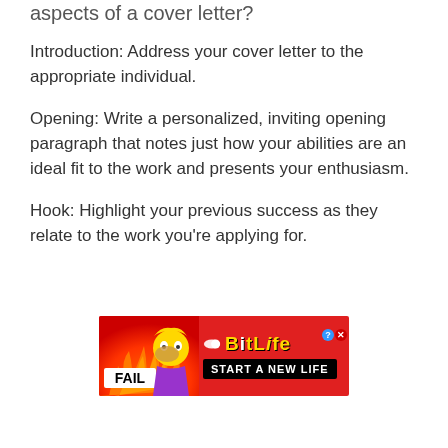aspects of a cover letter?
Introduction: Address your cover letter to the appropriate individual.
Opening: Write a personalized, inviting opening paragraph that notes just how your abilities are an ideal fit to the work and presents your enthusiasm.
Hook: Highlight your previous success as they relate to the work you're applying for.
[Figure (other): Advertisement banner for BitLife mobile game showing 'FAIL' text with cartoon character and flames, with 'START A NEW LIFE' button]